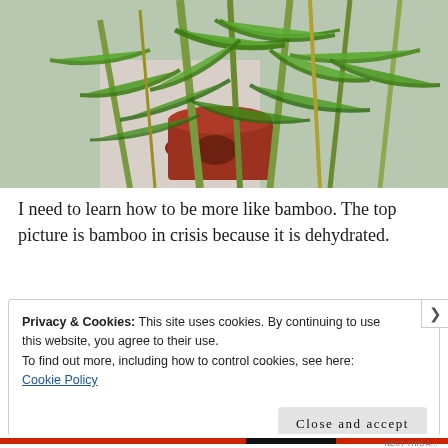[Figure (photo): Close-up photograph of green bamboo leaves and stalks with a red terracotta pot visible in the background against a white wall. The bamboo appears droopy and dehydrated.]
I need to learn how to be more like bamboo. The top picture is bamboo in crisis because it is dehydrated.
Privacy & Cookies: This site uses cookies. By continuing to use this website, you agree to their use.
To find out more, including how to control cookies, see here: Cookie Policy
Close and accept